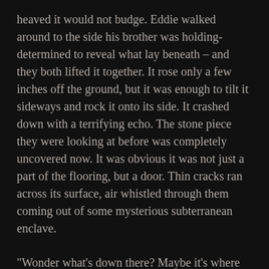heaved it would not budge. Eddie walked around to the side his brother was holding- determined to reveal what lay beneath – and they both lifted it together. It rose only a few inches off the ground, but it was enough to tilt it sideways and rock it onto its side. It crashed down with a terrifying echo. The stone piece they were looking at before was completely uncovered now. It was obvious it was not just a part of the flooring, but a door. Thin cracks ran across its surface, air whistled through them coming out of some mysterious subterranean enclave.
“Wonder what’s down there? Maybe it’s where the church hid all their treasures! Or the hideout of some secret cult! Cmon lets go down!”